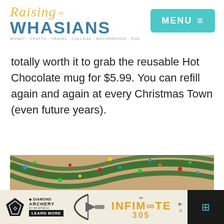Raising Whasians | MENU
totally worth it to grab the reusable Hot Chocolate mug for $5.99. You can refill again and again at every Christmas Town (even future years).
[Figure (photo): Indoor Christmas train display with decorated Christmas trees, a miniature train set on a circular track, colorful train cars, and holiday garland with lights decorating the ceiling arches.]
Diamond Archery advertisement: INFINITE 305 - LEARN MORE